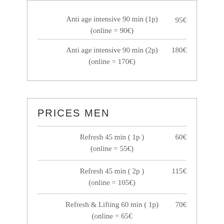Anti age intensive 90 min (1p) (online = 90€)  95€
Anti age intensive 90 min (2p) (online = 170€)  180€
PRICES MEN
Refresh 45 min ( 1p )  60€ (online = 55€)
Refresh 45 min ( 2p )  115€ (online = 105€)
Refresh & Lifting 60 min ( 1p) (online = 65€  70€